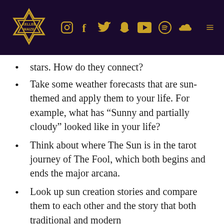[Figure (logo): Kellee Maize website header with gold Star of David logo and social media icons (Instagram, Facebook, Twitter, Snapchat, YouTube, Spotify, SoundCloud) on dark purple background, plus hamburger menu]
stars. How do they connect?
Take some weather forecasts that are sun-themed and apply them to your life. For example, what has “Sunny and partially cloudy” looked like in your life?
Think about where The Sun is in the tarot journey of The Fool, which both begins and ends the major arcana.
Look up sun creation stories and compare them to each other and the story that both traditional and modern